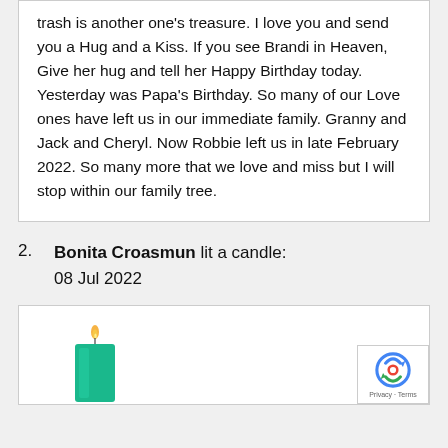trash is another one's treasure. I love you and send you a Hug and a Kiss. If you see Brandi in Heaven, Give her hug and tell her Happy Birthday today. Yesterday was Papa's Birthday. So many of our Love ones have left us in our immediate family. Granny and Jack and Cheryl. Now Robbie left us in late February 2022. So many more that we love and miss but I will stop within our family tree.
2. Bonita Croasmun lit a candle: 08 Jul 2022
[Figure (illustration): A green pillar candle with an orange flame at the top, shown on a white background inside a bordered box. A reCAPTCHA badge is visible in the bottom-right corner.]